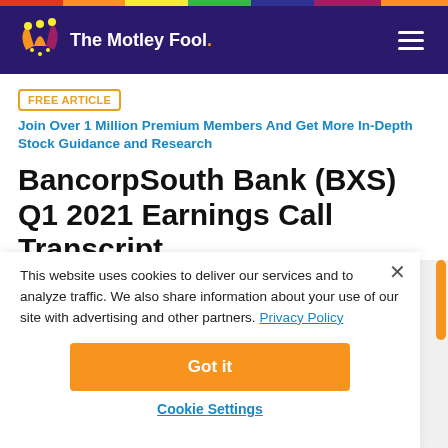The Motley Fool
FREE ARTICLE  Join Over 1 Million Premium Members And Get More In-Depth Stock Guidance and Research
BancorpSouth Bank (BXS) Q1 2021 Earnings Call Transcript
This website uses cookies to deliver our services and to analyze traffic. We also share information about your use of our site with advertising and other partners. Privacy Policy
Got it
Cookie Settings